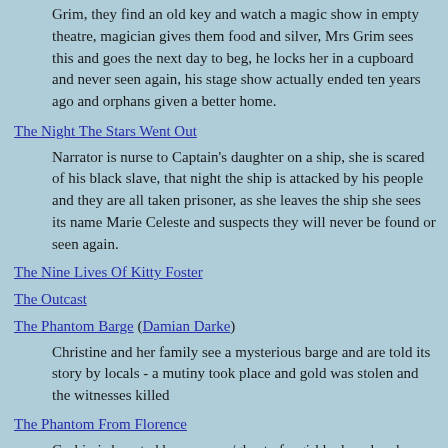Grim, they find an old key and watch a magic show in empty theatre, magician gives them food and silver, Mrs Grim sees this and goes the next day to beg, he locks her in a cupboard and never seen again, his stage show actually ended ten years ago and orphans given a better home.
The Night The Stars Went Out
Narrator is nurse to Captain's daughter on a ship, she is scared of his black slave, that night the ship is attacked by his people and they are all taken prisoner, as she leaves the ship she sees its name Marie Celeste and suspects they will never be found or seen again.
The Nine Lives Of Kitty Foster
The Outcast
The Phantom Barge (Damian Darke)
Christine and her family see a mysterious barge and are told its story by locals - a mutiny took place and gold was stolen and the witnesses killed
The Phantom From Florence
Cashio is haunted by memory/ghost of a girl he loved and abandoned, he fights a duel for her and dies.